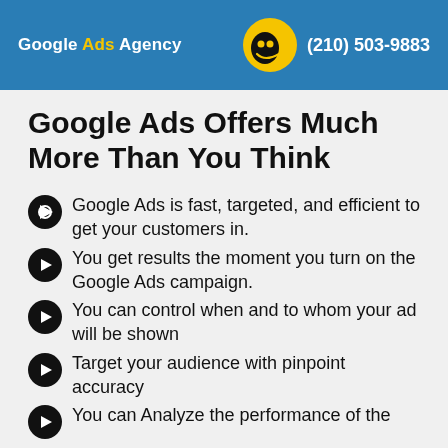Google Ads Agency | (210) 503-9883
Google Ads Offers Much More Than You Think
Google Ads is fast, targeted, and efficient to get your customers in.
You get results the moment you turn on the Google Ads campaign.
You can control when and to whom your ad will be shown
Target your audience with pinpoint accuracy
You can Analyze the performance of the